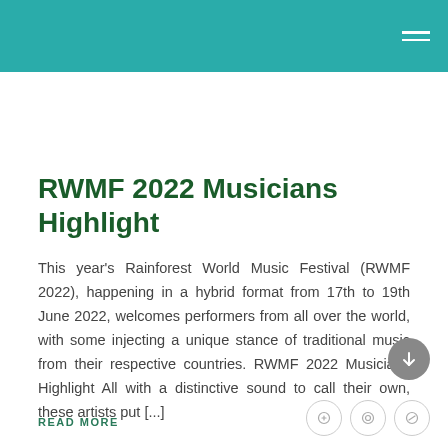RWMF 2022 Musicians Highlight
This year's Rainforest World Music Festival (RWMF 2022), happening in a hybrid format from 17th to 19th June 2022, welcomes performers from all over the world, with some injecting a unique stance of traditional music from their respective countries. RWMF 2022 Musicians Highlight All with a distinctive sound to call their own, these artists put [...]
READ MORE